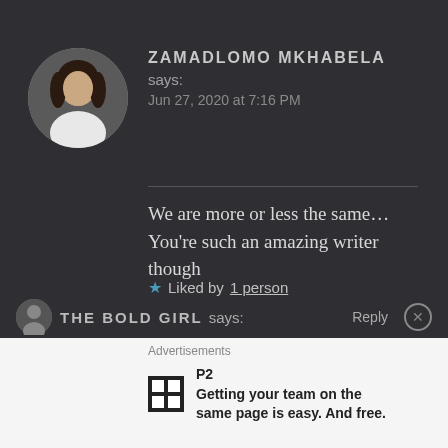[Figure (photo): Round avatar photo of a woman with dark hair wearing a white top, on dark background]
ZAMADLOMO MKHABELA says: Jun 27, 2020 at 7:16 PM
We are more or less the same… You're such an amazing writer though
★ Liked by 1 person
THE BOLD GIRL says: Reply
Advertisements
Getting your team on the same page is easy. And free.